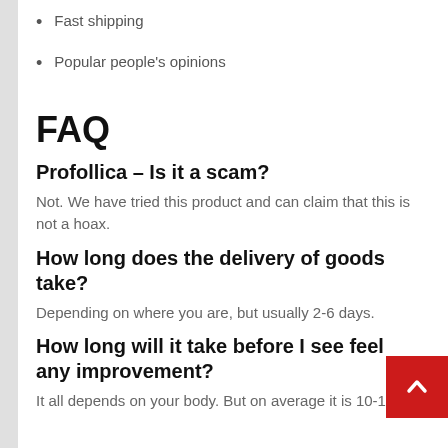Fast shipping
Popular people's opinions
FAQ
Profollica – Is it a scam?
Not. We have tried this product and can claim that this is not a hoax.
How long does the delivery of goods take?
Depending on where you are, but usually 2-6 days.
How long will it take before I see feel any improvement?
It all depends on your body. But on average it is 10-14